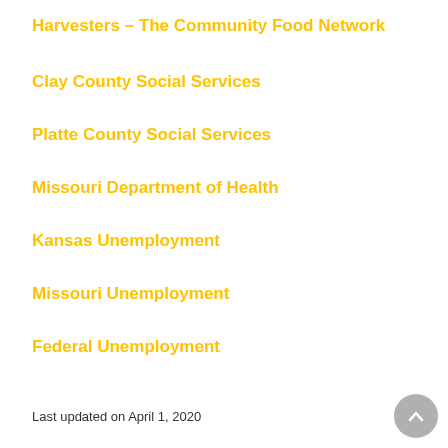Harvesters – The Community Food Network
Clay County Social Services
Platte County Social Services
Missouri Department of Health
Kansas Unemployment
Missouri Unemployment
Federal Unemployment
Last updated on April 1, 2020